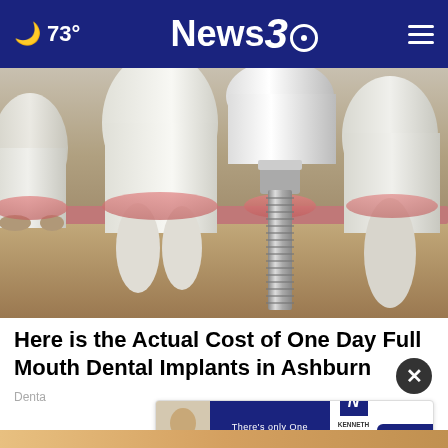73° | News 3
[Figure (illustration): Cross-section medical illustration of dental implant between natural teeth, showing screw implant in jawbone with gum tissue and crown]
Here is the Actual Cost of One Day Full Mouth Dental Implants in Ashburn
Dental Implants in Ashburn
[Figure (advertisement): Advertisement for Kenneth S. Nugent attorney. Text: There's only One ONE CALL THAT'S ALL. Kenneth S. Nugent, PC Attorney at Law. 1-800-CALL-KEN. Play Video button.]